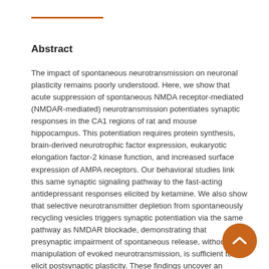Abstract
The impact of spontaneous neurotransmission on neuronal plasticity remains poorly understood. Here, we show that acute suppression of spontaneous NMDA receptor-mediated (NMDAR-mediated) neurotransmission potentiates synaptic responses in the CA1 regions of rat and mouse hippocampus. This potentiation requires protein synthesis, brain-derived neurotrophic factor expression, eukaryotic elongation factor-2 kinase function, and increased surface expression of AMPA receptors. Our behavioral studies link this same synaptic signaling pathway to the fast-acting antidepressant responses elicited by ketamine. We also show that selective neurotransmitter depletion from spontaneously recycling vesicles triggers synaptic potentiation via the same pathway as NMDAR blockade, demonstrating that presynaptic impairment of spontaneous release, without manipulation of evoked neurotransmission, is sufficient to elicit postsynaptic plasticity. These findings uncover an unexpectedly dynamic